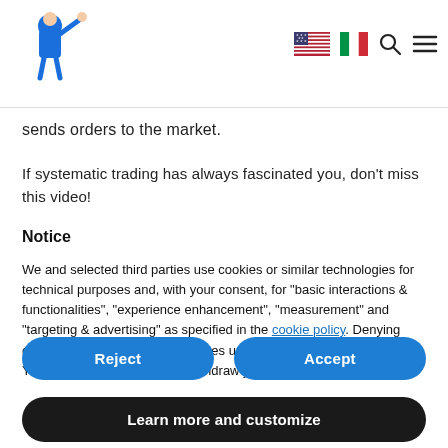Logo and navigation with US flag, Italian flag, search icon, and menu icon
sends orders to the market.
If systematic trading has always fascinated you, don't miss this video!
Notice
We and selected third parties use cookies or similar technologies for technical purposes and, with your consent, for "basic interactions & functionalities", "experience enhancement", "measurement" and "targeting & advertising" as specified in the cookie policy. Denying consent may make related features unavailable.
You can freely give, deny, or withdraw your consent at any time.
Reject
Accept
Learn more and customize